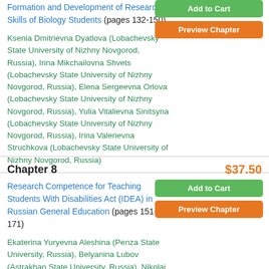Formation and Development of Research Skills of Biology Students (pages 132-150)
Ksenia Dmitrievna Dyatlova (Lobachevsky State University of Nizhny Novgorod, Russia), Irina Mikchailovna Shvets (Lobachevsky State University of Nizhny Novgorod, Russia), Elena Sergeevna Orlova (Lobachevsky State University of Nizhny Novgorod, Russia), Yulia Vitalievna Sinitsyna (Lobachevsky State University of Nizhny Novgorod, Russia), Irina Valerievna Struchkova (Lobachevsky State University of Nizhny Novgorod, Russia)
Chapter 8
$37.50
Research Competence for Teaching Students With Disabilities Act (IDEA) in Russian General Education (pages 151-171)
Ekaterina Yuryevna Aleshina (Penza State University, Russia), Belyanina Lubov (Astrakhan State University, Russia), Nikolai Tankov (Penza State University, Russia), Olga Simakova (Penza State University, Russia), Sedrak Sedrakyan (Urartu University, Armenia), Anna Ahtyan (Russian State Social University, Russia), Ema Akhtjan